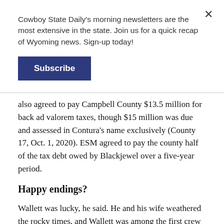Cowboy State Daily's morning newsletters are the most extensive in the state. Join us for a quick recap of Wyoming news. Sign-up today!
Subscribe
also agreed to pay Campbell County $13.5 million for back ad valorem taxes, though $15 million was due and assessed in Contura's name exclusively (County 17, Oct. 1, 2020). ESM agreed to pay the county half of the tax debt owed by Blackjewel over a five-year period.
Happy endings?
Wallett was lucky, he said. He and his wife weathered the rocky times, and Wallett was among the first crew to be rehired that fall by ESM with a $2 per hour raise. In recent weeks, he said, some of his former coworkers have also begun returning.